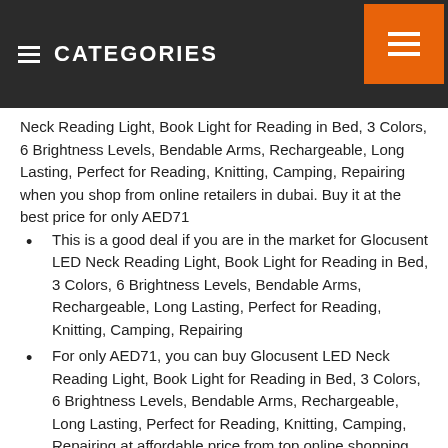CATEGORIES
Neck Reading Light, Book Light for Reading in Bed, 3 Colors, 6 Brightness Levels, Bendable Arms, Rechargeable, Long Lasting, Perfect for Reading, Knitting, Camping, Repairing when you shop from online retailers in dubai. Buy it at the best price for only AED71
This is a good deal if you are in the market for Glocusent LED Neck Reading Light, Book Light for Reading in Bed, 3 Colors, 6 Brightness Levels, Bendable Arms, Rechargeable, Long Lasting, Perfect for Reading, Knitting, Camping, Repairing
For only AED71, you can buy Glocusent LED Neck Reading Light, Book Light for Reading in Bed, 3 Colors, 6 Brightness Levels, Bendable Arms, Rechargeable, Long Lasting, Perfect for Reading, Knitting, Camping, Repairing at affordable price from top online shopping websites in UAE
The Glocusent LED Neck Reading Light, Book Light